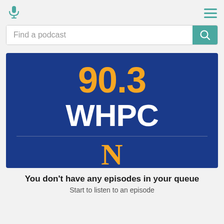[Figure (logo): Microphone icon in teal color]
[Figure (logo): Hamburger menu icon with three teal horizontal lines]
Find a podcast
[Figure (logo): 90.3 WHPC radio station logo on dark blue background with orange 90.3, white WHPC text, and partial orange N letter at bottom]
You don't have any episodes in your queue
Start to listen to an episode